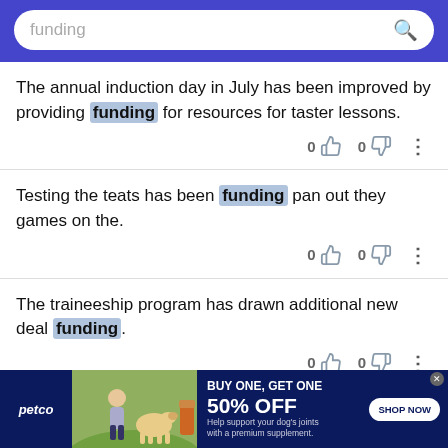funding [search bar]
The annual induction day in July has been improved by providing funding for resources for taster lessons.
Testing the teats has been funding pan out they games on the.
The traineeship program has drawn additional new deal funding.
[Figure (screenshot): Petco advertisement banner: BUY ONE, GET ONE 50% OFF. Help support your dog's joints with a premium supplement. SHOP NOW button. Petco logo on left with image of woman and dog.]